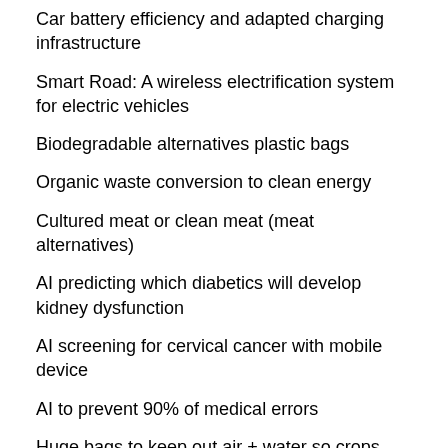Car battery efficiency and adapted charging infrastructure
Smart Road: A wireless electrification system for electric vehicles
Biodegradable alternatives plastic bags
Organic waste conversion to clean energy
Cultured meat or clean meat (meat alternatives)
AI predicting which diabetics will develop kidney dysfunction
AI screening for cervical cancer with mobile device
AI to prevent 90% of medical errors
Huge bags to keep out air + water so crops stay fresh for market used in 100 countries.
AI identifying water in the lungs
AI identifying those a high risk of Type 2 diabetes
AI flood forecaster in India